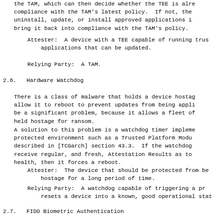the TAM, which can then decide whether the TEE is already in compliance with the TAM's latest policy.  If not, the TEE can uninstall, update, or install approved applications in order to bring it back into compliance with the TAM's policy.
Attester:  A device with a TEE capable of running trusted applications that can be updated.
Relying Party:  A TAM.
2.6.  Hardware Watchdog
There is a class of malware that holds a device hostage and doesn't allow it to reboot to prevent updates from being applied.  This can be a significant problem, because it allows a fleet of devices to be held hostage for ransom.
A solution to this problem is a watchdog timer implemented in a protected environment such as a Trusted Platform Module (TPM) as described in [TCGarch] section 43.3.  If the watchdog timer doesn't receive regular, and fresh, Attestation Results as to the device's health, then it forces a reboot.
Attester:  The device that should be protected from being held hostage for a long period of time.
Relying Party:  A watchdog capable of triggering a process that resets a device into a known, good operational state.
2.7.  FIDO Biometric Authentication